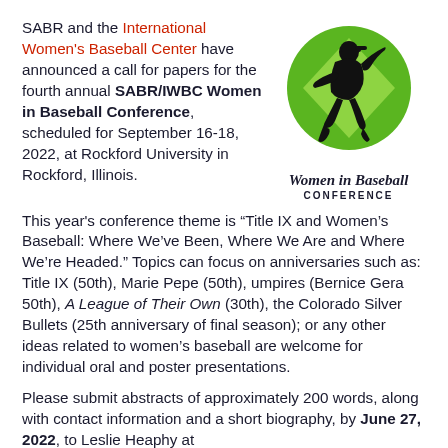SABR and the International Women's Baseball Center have announced a call for papers for the fourth annual SABR/IWBC Women in Baseball Conference, scheduled for September 16-18, 2022, at Rockford University in Rockford, Illinois.
[Figure (logo): Women in Baseball Conference logo: green circle with baseball diamond shape, silhouette of female pitcher in black, with script text 'Women in Baseball' and 'CONFERENCE' below]
This year's conference theme is “Title IX and Women's Baseball: Where We've Been, Where We Are and Where We're Headed.” Topics can focus on anniversaries such as: Title IX (50th), Marie Pepe (50th), umpires (Bernice Gera 50th), A League of Their Own (30th), the Colorado Silver Bullets (25th anniversary of final season); or any other ideas related to women's baseball are welcome for individual oral and poster presentations.
Please submit abstracts of approximately 200 words, along with contact information and a short biography, by June 27, 2022, to Leslie Heaphy at